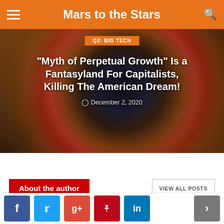Mars to the Stars
[Figure (photo): Roulette wheel close-up with article overlay. Category tag: Q2: BIG TECH. Title: "Myth of Perpetual Growth" Is a Fantasyland For Capitalists, Killing The American Dream! Date: December 2, 2020]
About the author
VIEW ALL POSTS
Paul B. Farrell